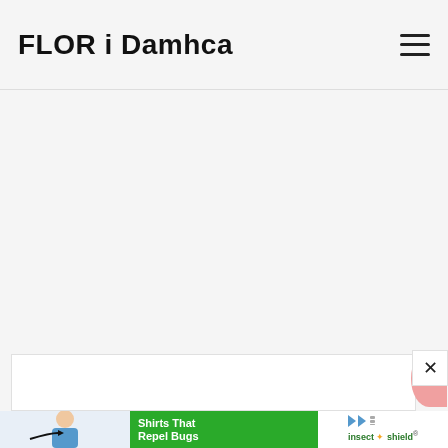FLOR i Damhca
[Figure (screenshot): Website screenshot showing header with logo 'FLOR i Damhca' and hamburger menu icon, large white/light gray empty content area, a white ad banner at bottom, and a bottom advertisement strip with person photo, green box reading 'Shirts That Repel Bugs' and 'insect shield' branding]
Shirts That Repel Bugs
insect shield